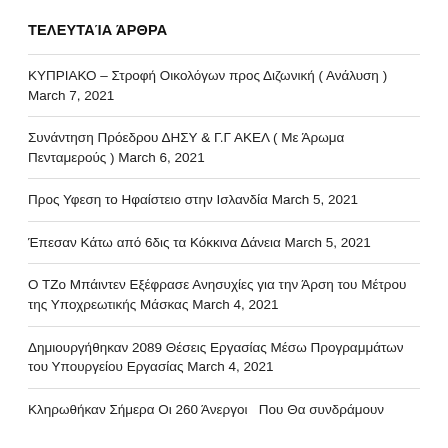ΤΕΛΕΥΤΑΊΑ ΆΡΘΡΑ
ΚΥΠΡΙΑΚΟ – Στροφή Οικολόγων προς Διζωνική ( Ανάλυση ) March 7, 2021
Συνάντηση Πρόεδρου ΔΗΣΥ & Γ.Γ ΑΚΕΛ ( Με Άρωμα Πενταμερούς ) March 6, 2021
Προς Υφεση το Ηφαίστειο στην Ισλανδία March 5, 2021
Έπεσαν Κάτω από 6δις τα Κόκκινα Δάνεια March 5, 2021
Ο ΤΖο Μπάιντεν Εξέφρασε Ανησυχίες για την Άρση του Μέτρου της Υποχρεωτικής Μάσκας March 4, 2021
Δημιουργήθηκαν 2089 Θέσεις Εργασίας Μέσω Προγραμμάτων του Υπουργείου Εργασίας March 4, 2021
Κληρωθήκαν Σήμερα Οι 260 Άνεργοι  Που Θα συνδράμουν